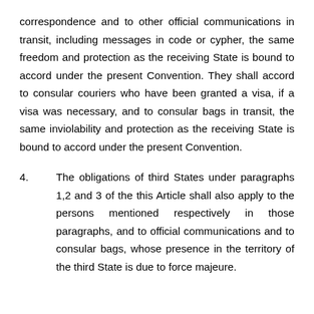correspondence and to other official communications in transit, including messages in code or cypher, the same freedom and protection as the receiving State is bound to accord under the present Convention. They shall accord to consular couriers who have been granted a visa, if a visa was necessary, and to consular bags in transit, the same inviolability and protection as the receiving State is bound to accord under the present Convention.
4. The obligations of third States under paragraphs 1,2 and 3 of the this Article shall also apply to the persons mentioned respectively in those paragraphs, and to official communications and to consular bags, whose presence in the territory of the third State is due to force majeure.